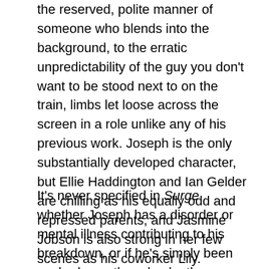the reserved, polite manner of someone who blends into the background, to the erratic unpredictability of the guy you don't want to be stood next to on the train, limbs let loose across the screen in a role unlike any of his previous work. Joseph is the only substantially developed character, but Ellie Haddington and Ian Gelder are chilling as his equally odd and repressed parents, and Jasmine Jobson is also strong in her few scenes as his coworker Lily.
It's never specified in Surge whether Joseph has a disorder or mental illness contributing to his breakdown, or if he's simply been pushed over the edge by the endless mundanity of his life. This lack of clarity means some elements of his behaviour